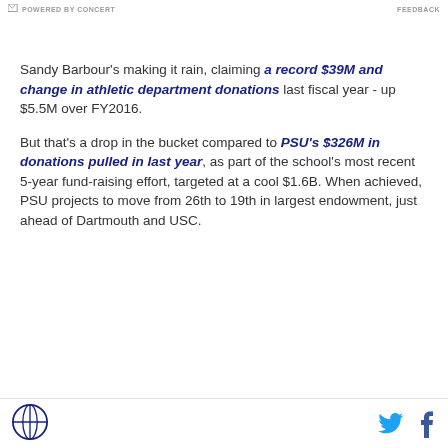POWERED BY CONCERT   FEEDBACK
Sandy Barbour's making it rain, claiming a record $39M and change in athletic department donations last fiscal year - up $5.5M over FY2016.

But that's a drop in the bucket compared to PSU's $326M in donations pulled in last year, as part of the school's most recent 5-year fund-raising effort, targeted at a cool $1.6B. When achieved, PSU projects to move from 26th to 19th in largest endowment, just ahead of Dartmouth and USC.